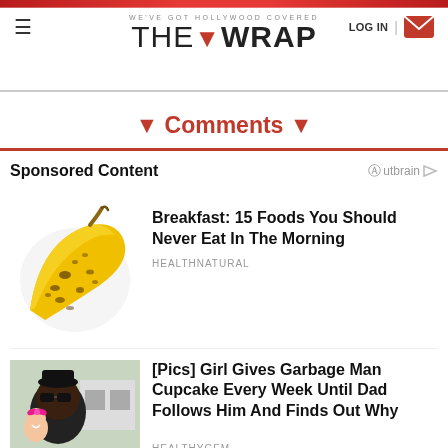WE'VE GOT HOLLYWOOD COVERED — THE WRAP | LOG IN
▼ Comments ▼
Sponsored Content — Outbrain
[Figure (photo): Photo of a spotted ripe banana on white background]
Breakfast: 15 Foods You Should Never Eat In The Morning
HEALTHNATURAL
[Figure (photo): Photo of a man with sunglasses and a girl with a pink bow]
[Pics] Girl Gives Garbage Man Cupcake Every Week Until Dad Follows Him And Finds Out Why
HealthyGem